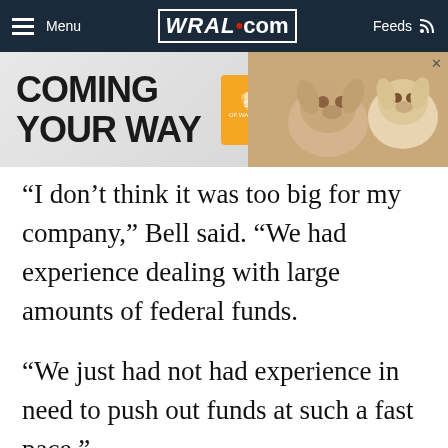Menu | WRAL.com | Feeds
[Figure (screenshot): Advertisement banner: Coming Your Way - SPCA of Wake County with dogs photo]
“I don’t think it was too big for my company,” Bell said. “We had experience dealing with large amounts of federal funds.
“We just had not had experience in need to push out funds at such a fast pace.”
Bell said Telamon is working with Wake County and the city of Raleigh to modify policies and procedures to distribute the